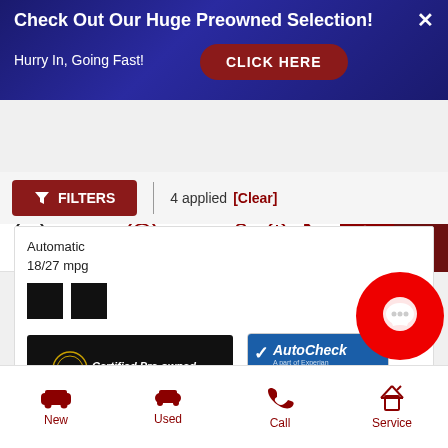[Figure (screenshot): Promotional banner ad with dark blue background. Title: 'Check Out Our Huge Preowned Selection!' with close X button. Subtitle: 'Hurry In, Going Fast!' with red 'CLICK HERE' button.]
[Figure (screenshot): Navigation bar with Palmen Fiat logo, location/clock/phone icons, red search button, red menu button.]
4 applied [Clear]
Automatic
18/27 mpg
[Figure (logo): Certified Pre-owned Chrysler Dodge Jeep Ram Fiat badge on black background]
[Figure (logo): AutoCheck A part of Experian Vehicle History Report badge]
[Figure (other): Red circular chat/message button overlay]
[Figure (screenshot): Bottom navigation bar with New, Used, Call, Service items in red]
New
Used
Call
Service